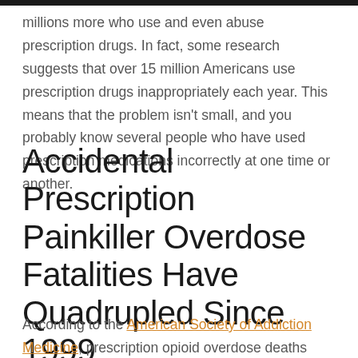millions more who use and even abuse prescription drugs. In fact, some research suggests that over 15 million Americans use prescription drugs inappropriately each year. This means that the problem isn't small, and you probably know several people who have used prescription medications incorrectly at one time or another.
Accidental Prescription Painkiller Overdose Fatalities Have Quadrupled Since 1999
According to the American Society of Addiction Medicine, prescription opioid overdose deaths total more than 20,000